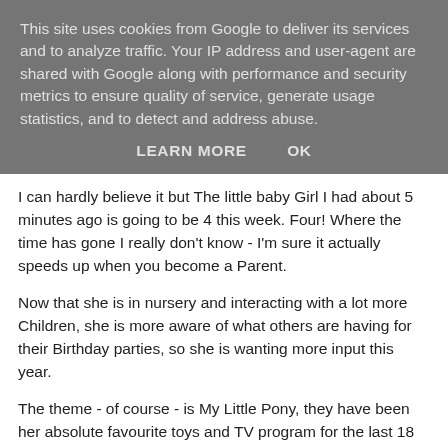This site uses cookies from Google to deliver its services and to analyze traffic. Your IP address and user-agent are shared with Google along with performance and security metrics to ensure quality of service, generate usage statistics, and to detect and address abuse.
LEARN MORE    OK
I can hardly believe it but The little baby Girl I had about 5 minutes ago is going to be 4 this week. Four! Where the time has gone I really don't know - I'm sure it actually speeds up when you become a Parent.
Now that she is in nursery and interacting with a lot more Children, she is more aware of what others are having for their Birthday parties, so she is wanting more input this year.
The theme - of course - is My Little Pony, they have been her absolute favourite toys and TV program for the last 18 months, in fact our house looks suspiciously like a Hasbro aisle in a toy shop - and I have a feeling it is about to become much worse!